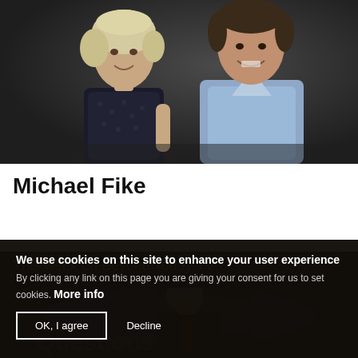[Figure (photo): Two people posing together: a woman with short grey/blonde hair wearing a dark patterned blouse on the left, and a man in a light blue collared shirt on the right, photographed against a dark background.]
Michael Fike
This week on Beyond Today TV
[Figure (screenshot): Thumbnail image of a TV program showing an older man in a dark suit and red tie against a blue background, with the text 'Questions' partially visible.]
We use cookies on this site to enhance your user experience By clicking any link on this page you are giving your consent for us to set cookies. More info
OK, I agree
Decline